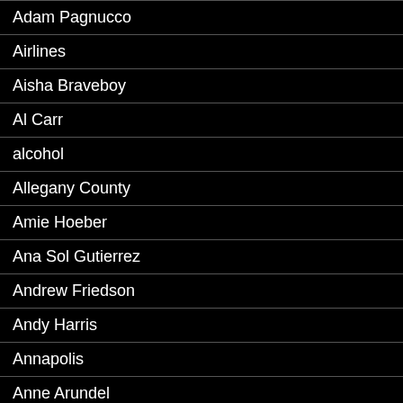Adam Pagnucco
Airlines
Aisha Braveboy
Al Carr
alcohol
Allegany County
Amie Hoeber
Ana Sol Gutierrez
Andrew Friedson
Andy Harris
Annapolis
Anne Arundel
Anne Kaiser